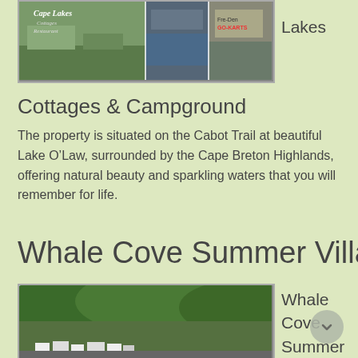[Figure (photo): Collage of Lake O'Law cottages and resort photos showing buildings, waterways, and signage]
Lakes
Cottages & Campground
The property is situated on the Cabot Trail at beautiful Lake O’Law, surrounded by the Cape Breton Highlands, offering natural beauty and sparkling waters that you will remember for life.
Whale Cove Summer Village
[Figure (photo): Aerial or hillside photo of Whale Cove Summer Village showing cottages nestled among dense forested green hills]
Whale Cove Summer Village